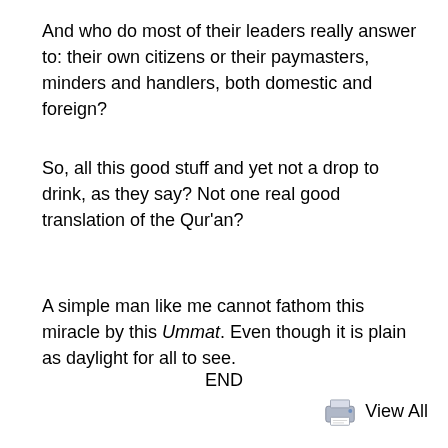And who do most of their leaders really answer to: their own citizens or their paymasters, minders and handlers, both domestic and foreign?
So, all this good stuff and yet not a drop to drink, as they say? Not one real good translation of the Qur'an?
A simple man like me cannot fathom this miracle by this Ummat. Even though it is plain as daylight for all to see.
END
View All